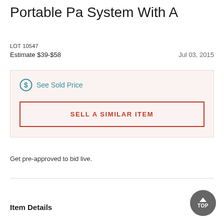Portable Pa System With A
LOT 10547
Estimate $39-$58                                Jul 03, 2015
See Sold Price
SELL A SIMILAR ITEM
Get pre-approved to bid live.
Item Details